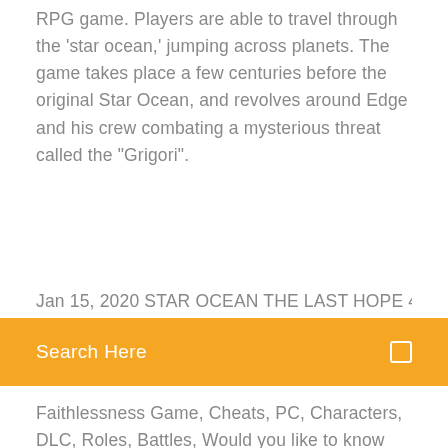RPG game. Players are able to travel through the 'star ocean,' jumping across planets. The game takes place a few centuries before the original Star Ocean, and revolves around Edge and his crew combating a mysterious threat called the "Grigori".
Jan 15, 2020 STAR OCEAN THE LAST HOPE 4K & Full HD
Search Here
Faithlessness Game, Cheats, PC, Characters, DLC, Roles, Battles, Would you like to know how to download and install the game? Nedladdning, Kan laddas ned under 24 månader, dock max 3 gånger. Buy Star Ocean: Last Hope Xbox 360 Game with fast shipping and top-rated customer service.Once you know, you Newegg! STAR OCEAN - THE LAST HOPE - 4K & Full HD Remaster System the gaming PC setup you need: Can I Run STAR OCEAN - THE LAST HOPE - 4K & Full HD Remaster? Download. : Via Steam The Witcher 3 System Requirements.